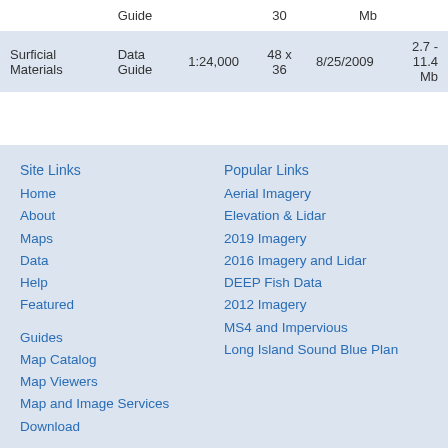|  | Guide |  |  |  |
| --- | --- | --- | --- | --- |
|  | Guide |  | 30 | Mb |
| Surficial Materials | Data Guide | 1:24,000 | 48 x 36 | 8/25/2009 | 2.7 - 11.4 Mb |
Site Links
Home
About
Maps
Data
Help
Featured

Guides
Map Catalog
Map Viewers
Map and Image Services
Download
Popular Links
Aerial Imagery
Elevation & Lidar
2019 Imagery
2016 Imagery and Lidar
DEEP Fish Data
2012 Imagery
MS4 and Impervious
Long Island Sound Blue Plan